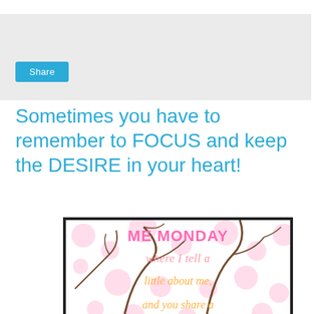[Figure (other): Gray bar with a teal Share button]
Sometimes you have to remember to FOCUS and keep the DESIRE in your heart!
[Figure (illustration): Me Monday decorative image with cherry blossom branches and pink/orange text reading: ME MONDAY where I tell a little about me, and you share a...]